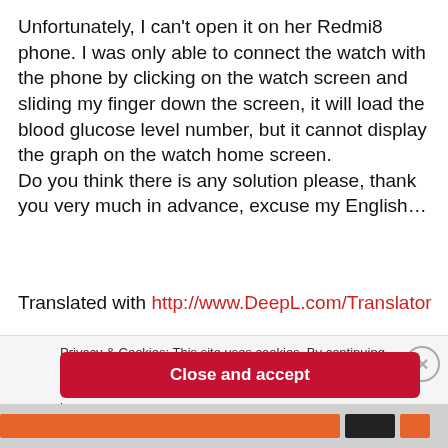Unfortunately, I can't open it on her Redmi8 phone. I was only able to connect the watch with the phone by clicking on the watch screen and sliding my finger down the screen, it will load the blood glucose level number, but it cannot display the graph on the watch home screen.
Do you think there is any solution please, thank you very much in advance, excuse my English…
Translated with http://www.DeepL.com/Translator
Privacy & Cookies: This site uses cookies. By continuing to use this website, you agree to their use.
To find out more, including how to control cookies, see here:
Cookie Policy
Close and accept